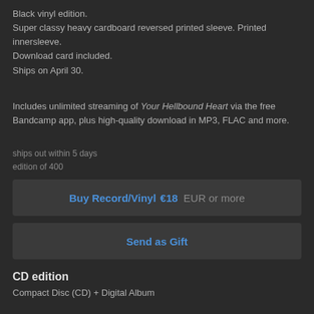Black vinyl edition.
Super classy heavy cardboard reversed printed sleeve. Printed innersleeve.
Download card included.
Ships on April 30.
Includes unlimited streaming of Your Hellbound Heart via the free Bandcamp app, plus high-quality download in MP3, FLAC and more.
ships out within 5 days
edition of 400
Buy Record/Vinyl  €18 EUR or more
Send as Gift
CD edition
Compact Disc (CD) + Digital Album
[Figure (photo): Four thumbnail images of CD packaging showing front cover, back cover, booklet, and disc tray]
Super classy digipack CD edition with clear tray.